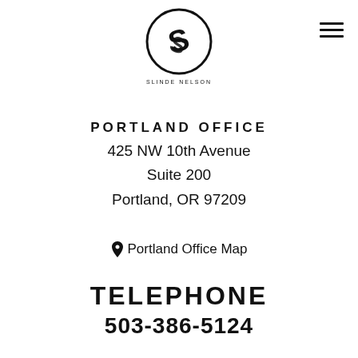[Figure (logo): Slinde Nelson circular logo with interlocked S letters and 'SLINDE NELSON' text below]
PORTLAND OFFICE
425 NW 10th Avenue
Suite 200
Portland, OR 97209
Portland Office Map
TELEPHONE
503-386-5124